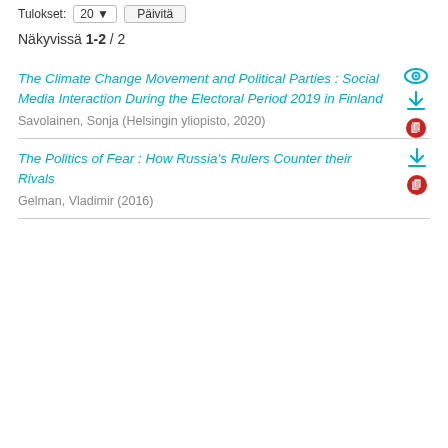Tulokset: 20 ▼  Päivitä
Näkyvissä 1-2 / 2
The Climate Change Movement and Political Parties : Social Media Interaction During the Electoral Period 2019 in Finland
Savolainen, Sonja (Helsingin yliopisto, 2020)
The Politics of Fear : How Russia's Rulers Counter their Rivals
Gelman, Vladimir (2016)